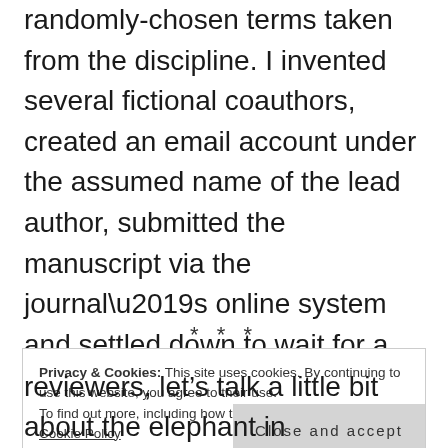consisting of syntactically coherent but otherwise randomly-chosen terms taken from the discipline. I invented several fictional coauthors, created an email account under the assumed name of the lead author, submitted the manuscript via the journal's online system and settled down to wait for a decision (which was promised within “14 days,” following the journal’s usual “double blind peer review process”).
* * *
Privacy & Cookies: This site uses cookies. By continuing to use this website, you agree to their use. To find out more, including how to control cookies, see here: Cookie Policy
reviewers, let’s talk a little bit about the elephant in